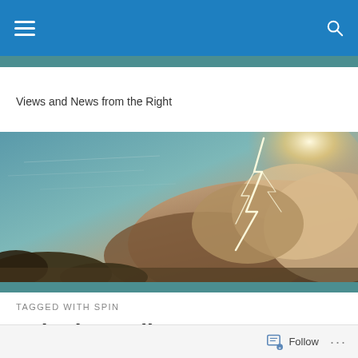Navigation bar with menu and search icons
Views and News from the Right
[Figure (photo): Dramatic storm photo with lightning striking through dark clouds and a glowing sky]
TAGGED WITH SPIN
Spinning Failure as Success
Follow  ...